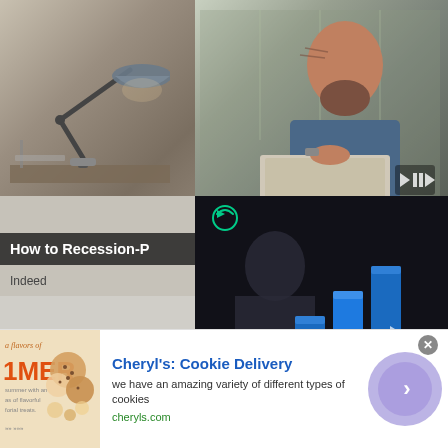[Figure (photo): Split photo: left half shows a desk with a dark blue desk lamp, dark background; right half shows a bald bearded man in a blue checkered shirt sitting at a laptop looking thoughtful, with a green-tinted office background]
[Figure (screenshot): Video player overlay on dark background showing blue bar chart bars with a play button, mute button, and refresh/loading icon]
[Figure (photo): Nature photo showing trees with green foliage in bottom left area]
How to Recession-P
Indeed
[Figure (infographic): Advertisement banner for Cheryl's Cookie Delivery showing product image on left with text 'a flavors of IMER' and cookie images, main ad text, and circular CTA button on right]
Cheryl's: Cookie Delivery
we have an amazing variety of different types of cookies
cheryls.com